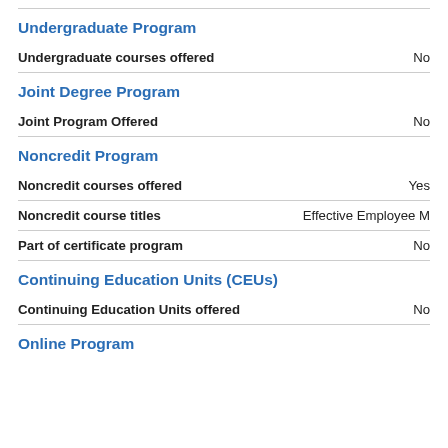Undergraduate Program
| Field | Value |
| --- | --- |
| Undergraduate courses offered | No |
Joint Degree Program
| Field | Value |
| --- | --- |
| Joint Program Offered | No |
Noncredit Program
| Field | Value |
| --- | --- |
| Noncredit courses offered | Yes |
| Noncredit course titles | Effective Employee M |
| Part of certificate program | No |
Continuing Education Units (CEUs)
| Field | Value |
| --- | --- |
| Continuing Education Units offered | No |
Online Program